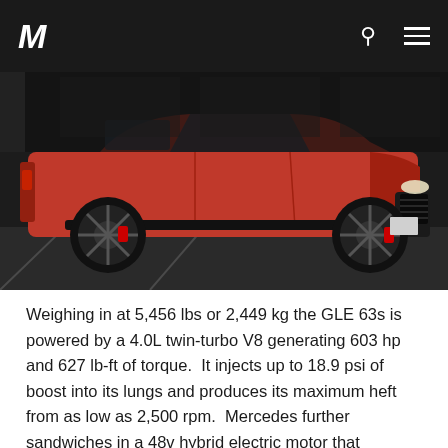M
[Figure (photo): A red Mercedes-AMG GLE 63s SUV photographed at night in a parking lot, showing the side profile with black wheels and red brake calipers.]
Weighing in at 5,456 lbs or 2,449 kg the GLE 63s is powered by a 4.0L twin-turbo V8 generating 603 hp and 627 lb-ft of torque.  It injects up to 18.9 psi of boost into its lungs and produces its maximum heft from as low as 2,500 rpm.  Mercedes further sandwiches in a 48v hybrid electric motor that produces 21 hp and 184 lb-ft.  Versions of this hand crafted master piece and powerhouse are used by Aston Martin.  In the GLE 63s the translation of all this